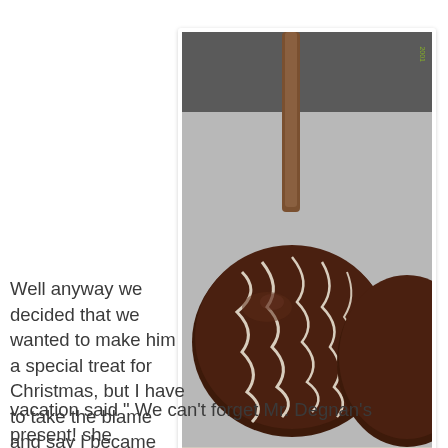[Figure (photo): Close-up photograph of chocolate-covered caramel apples on sticks, drizzled with white chocolate, on a light surface. The apples are dark brown with white drizzle patterns. A timestamp watermark is visible in the upper right corner.]
Well anyway we decided that we wanted to make him a special treat for Christmas, but I have to take the blame and say I became too busy and never did get a chance to make his special treat. Well my Bianca upon coming upon her return to school from her Christmas vacation said " We can't forget Mr. Degnan's present! she